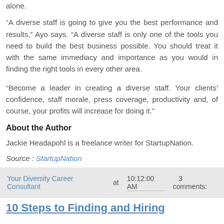alone.
“A diverse staff is going to give you the best performance and results,” Ayo says. “A diverse staff is only one of the tools you need to build the best business possible. You should treat it with the same immediacy and importance as you would in finding the right tools in every other area.
“Become a leader in creating a diverse staff. Your clients’ confidence, staff morale, press coverage, productivity and, of course, your profits will increase for doing it.”
About the Author
Jackie Headapohl is a freelance writer for StartupNation.
Source : StartupNation
Your Diversity Career Consultant at 10:12:00 AM   3 comments:
10 Steps to Finding and Hiring